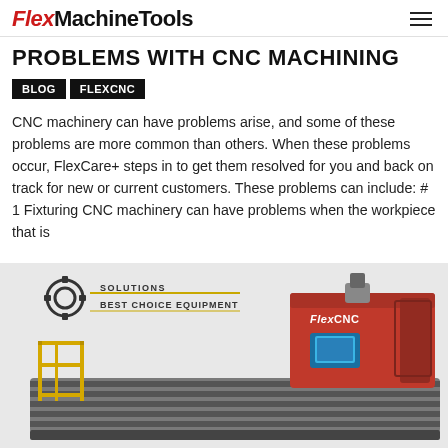Flex MachineTools
PROBLEMS WITH CNC MACHINING
BLOG
FLEXCNC
CNC machinery can have problems arise, and some of these problems are more common than others. When these problems occur, FlexCare+ steps in to get them resolved for you and back on track for new or current customers. These problems can include: # 1 Fixturing CNC machinery can have problems when the workpiece that is
[Figure (photo): A large red FlexCNC machine tool (CNC machining center) on a long grey table/rail bed with yellow safety railings, with a logo overlay reading 'Solutions Best Choice Equipment' with a gear icon in the upper left corner.]